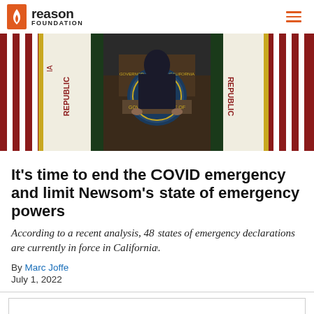Reason Foundation
[Figure (photo): Governor at podium with California Republic and U.S. flags in background]
It’s time to end the COVID emergency and limit Newsom’s state of emergency powers
According to a recent analysis, 48 states of emergency declarations are currently in force in California.
By Marc Joffe
July 1, 2022